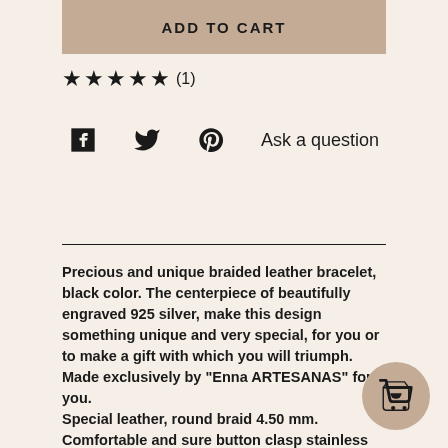ADD TO CART
★★★★★ (1)
[Figure (infographic): Social sharing icons: Facebook, Twitter, Pinterest, and 'Ask a question' link]
Precious and unique braided leather bracelet, black color. The centerpiece of beautifully engraved 925 silver, make this design something unique and very special, for you or to make a gift with which you will triumph.
Made exclusively by "Enna ARTESANAS" for you.
Special leather, round braid 4.50 mm.
Comfortable and sure button clasp stainless st… 7 mm.
Centralpiece engraved silver: 29 x 7 mm.
[Figure (infographic): Floating cart button (beige circle with shopping cart icon) in bottom right corner]